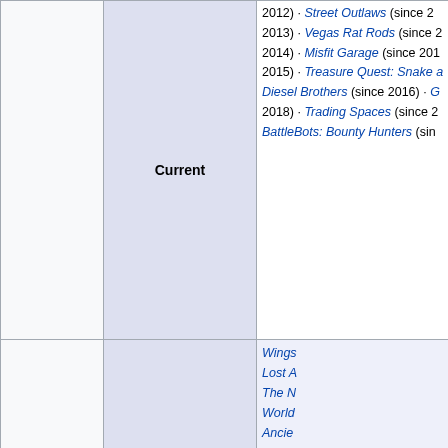|  | Category | Shows |
| --- | --- | --- |
|  | Current | 2012) · Street Outlaws (since 2012) · 2013) · Vegas Rat Rods (since 2013) · 2014) · Misfit Garage (since 2014) · 2015) · Treasure Quest: Snake ... Diesel Brothers (since 2016) · G... 2018) · Trading Spaces (since 2018) · BattleBots: Bounty Hunters (since... |
|  | 1980s/1990s debuts | Wings · Lost A... · The N... · World... · Ancie... · Daily... · Disco... · The N... · Ragin... · The F... |
|  |  | Wher... (2001) · Biker... · Unso... · MythB... · Dino... |